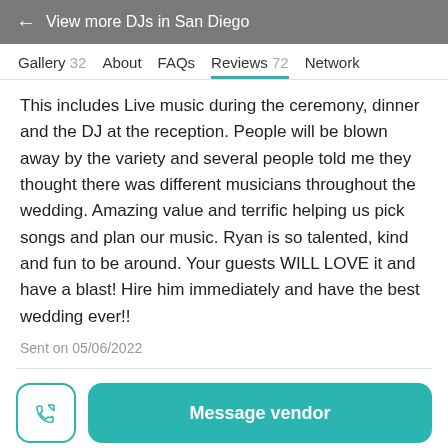← View more DJs in San Diego
Gallery 32   About   FAQs   Reviews 72   Network
This includes Live music during the ceremony, dinner and the DJ at the reception. People will be blown away by the variety and several people told me they thought there was different musicians throughout the wedding. Amazing value and terrific helping us pick songs and plan our music. Ryan is so talented, kind and fun to be around. Your guests WILL LOVE it and have a blast! Hire him immediately and have the best wedding ever!!
Sent on 05/06/2022
Message vendor